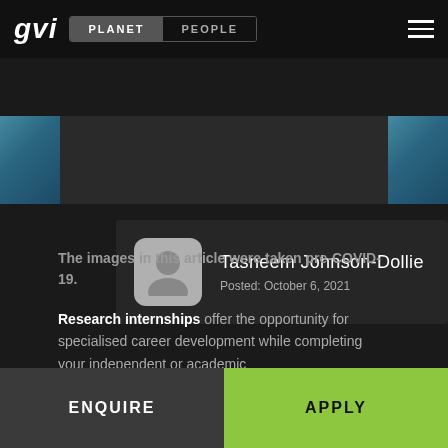gvi | PLANET | PEOPLE
[Figure (photo): Hero banner strip with ocean/water image visible on left and right sides, dark center]
Tasneem Johnson-Dollie
Posted: October 6, 2021
The images in this article were taken pre-COVID-19.
Research internships offer the opportunity for specialised career development while completing your independent or academic
ENQUIRE
APPLY